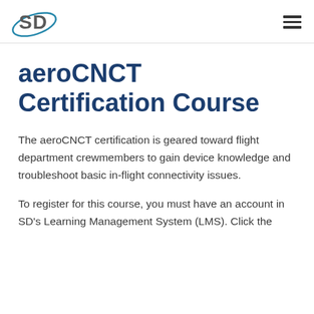SD logo and hamburger menu
aeroCNCT Certification Course
The aeroCNCT certification is geared toward flight department crewmembers to gain device knowledge and troubleshoot basic in-flight connectivity issues.
To register for this course, you must have an account in SD’s Learning Management System (LMS). Click the